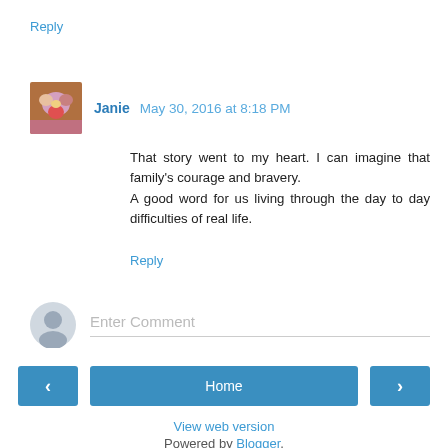Reply
Janie May 30, 2016 at 8:18 PM
That story went to my heart. I can imagine that family's courage and bravery.
A good word for us living through the day to day difficulties of real life.
Reply
Enter Comment
Home
View web version
Powered by Blogger.